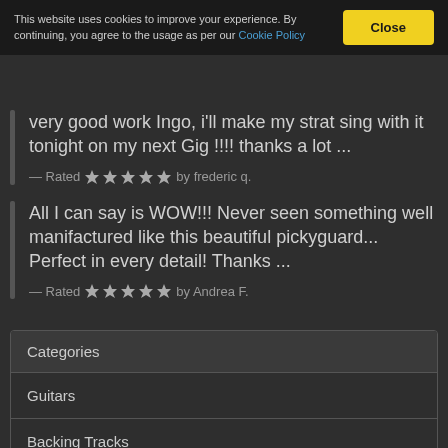This website uses cookies to improve your experience. By continuing, you agree to the usage as per our Cookie Policy   Close
very good work Ingo, i'll make my strat sing with it tonight on my next Gig !!!! thanks a lot ...
— Rated ★★★★★ by frederic q.
All I can say is WOW!!! Never seen something well manifactured like this beautiful pickyguard... Perfect in every detail! Thanks ...
— Rated ★★★★★ by Andrea F.
Categories
Guitars
Backing Tracks